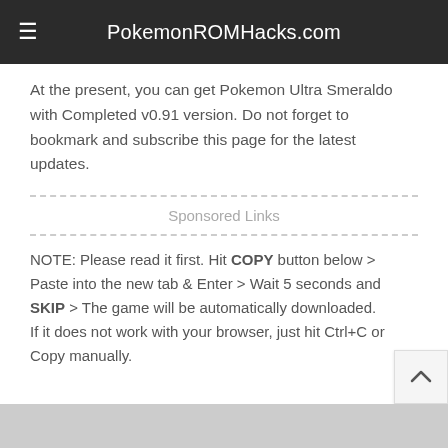PokemonROMHacks.com
At the present, you can get Pokemon Ultra Smeraldo with Completed v0.91 version. Do not forget to bookmark and subscribe this page for the latest updates.
Sponsored Links
NOTE: Please read it first. Hit COPY button below > Paste into the new tab & Enter > Wait 5 seconds and SKIP > The game will be automatically downloaded.
If it does not work with your browser, just hit Ctrl+C or Copy manually.